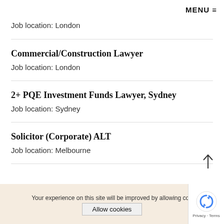MENU
Job location: London
Commercial/Construction Lawyer
Job location: London
2+ PQE Investment Funds Lawyer, Sydney
Job location: Sydney
Solicitor (Corporate) ALT
Job location: Melbourne
Your experience on this site will be improved by allowing coo
Allow cookies